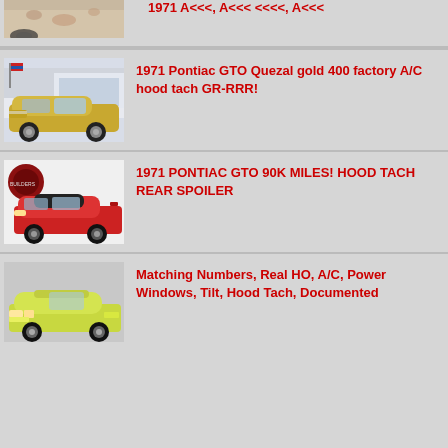[Figure (photo): Partial view of a classic car, rusted/weathered, top cropped]
[Figure (photo): 1971 Pontiac GTO in Quezal gold at a dealership]
1971 Pontiac GTO Quezal gold 400 factory A/C hood tach GR-RRR!
[Figure (photo): 1971 Pontiac GTO in red with hood tach and rear spoiler]
1971 PONTIAC GTO 90K MILES! HOOD TACH REAR SPOILER
[Figure (photo): Yellow/lime classic Pontiac GTO convertible]
Matching Numbers, Real HO, A/C, Power Windows, Tilt, Hood Tach, Documented